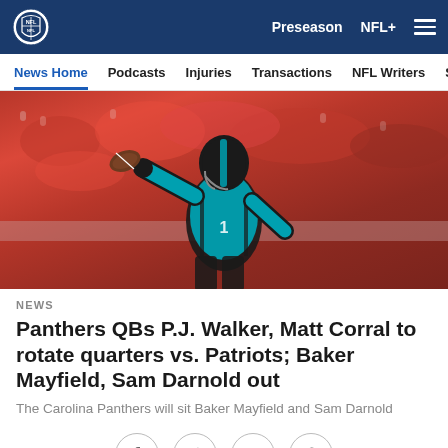NFL – Preseason NFL+
News Home | Podcasts | Injuries | Transactions | NFL Writers | Se
[Figure (photo): Carolina Panthers quarterback in teal uniform winding up to throw a pass, with red-clad crowd in background]
NEWS
Panthers QBs P.J. Walker, Matt Corral to rotate quarters vs. Patriots; Baker Mayfield, Sam Darnold out
The Carolina Panthers will sit Baker Mayfield and Sam Darnold